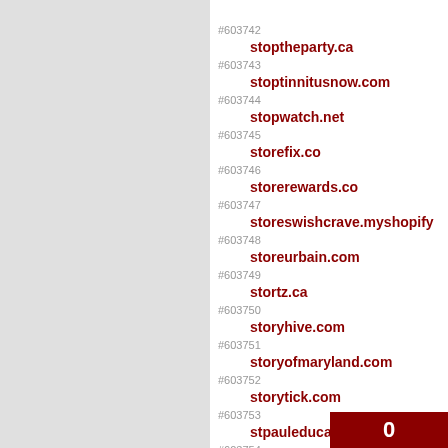#603742
#603743 stoptheparty.ca
#603744 stoptinnitusnow.com
#603745 stopwatch.net
#603746 storefix.co
#603747 storerewards.co
#603748 storeswishcrave.myshopify
#603749 storeurbain.com
#603750 stortz.ca
#603751 storyhive.com
#603752 storyofmaryland.com
#603753 storytick.com
#603754 stpauleducation.
0